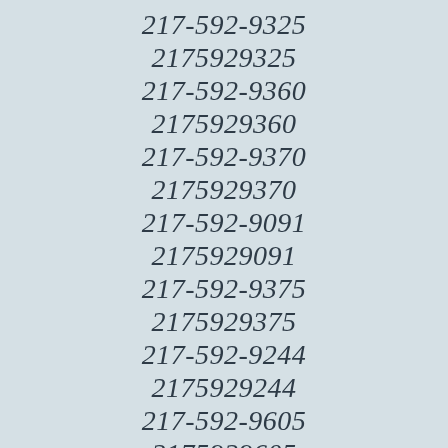217-592-9325
2175929325
217-592-9360
2175929360
217-592-9370
2175929370
217-592-9091
2175929091
217-592-9375
2175929375
217-592-9244
2175929244
217-592-9605
2175929605
217-592-9872
2175929872